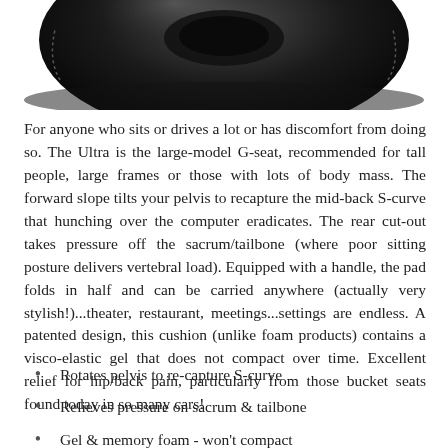[Figure (photo): Partial top view of a black cushion/seat pad product (G-seat) showing the upper portion of the cushion against a white background]
For anyone who sits or drives a lot or has discomfort from doing so. The Ultra is the large-model G-seat, recommended for tall people, large frames or those with lots of body mass. The forward slope tilts your pelvis to recapture the mid-back S-curve that hunching over the computer eradicates. The rear cut-out takes pressure off the sacrum/tailbone (where poor sitting posture delivers vertebral load). Equipped with a handle, the pad folds in half and can be carried anywhere (actually very stylish!)...theater, restaurant, meetings...settings are endless. A patented design, this cushion (unlike foam products) contains a visco-elastic gel that does not compact over time. Excellent relief for hip/back pain, particularly from those bucket seats found today in so many cars!
Rotates pelvis to re-capture S-curve
Relieves pressure on sacrum & tailbone
Gel & memory foam - won't compact